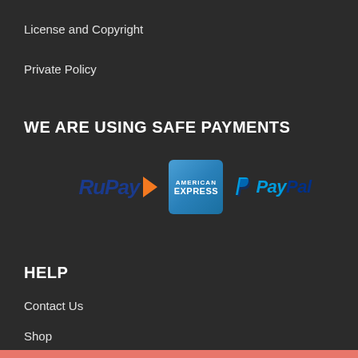License and Copyright
Private Policy
WE ARE USING SAFE PAYMENTS
[Figure (logo): Payment logos: RuPay, American Express, PayPal]
HELP
Contact Us
Shop